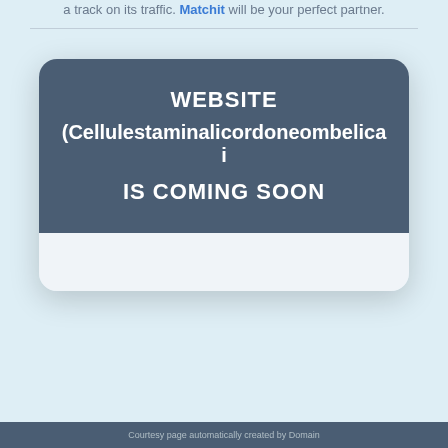a track on its traffic. Matchit will be your perfect partner.
[Figure (other): A rounded card with dark blue-grey background showing 'WEBSITE (Cellulestaminalicordoneombelicai IS COMING SOON' in bold white text, with a light grey bottom panel.]
Courtesy page automatically created by Domain